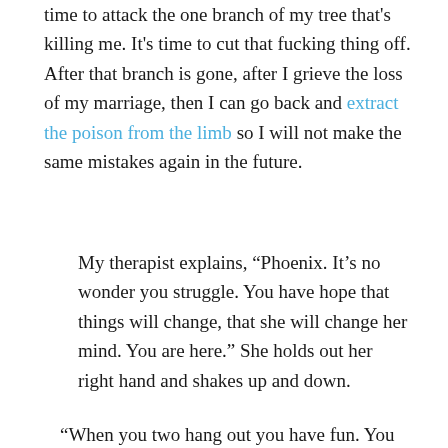time to attack the one branch of my tree that's killing me. It's time to cut that fucking thing off. After that branch is gone, after I grieve the loss of my marriage, then I can go back and extract the poison from the limb so I will not make the same mistakes again in the future.
My therapist explains, “Phoenix. It’s no wonder you struggle. You have hope that things will change, that she will change her mind. You are here.” She holds out her right hand and shakes up and down.
“When you two hang out you have fun. You